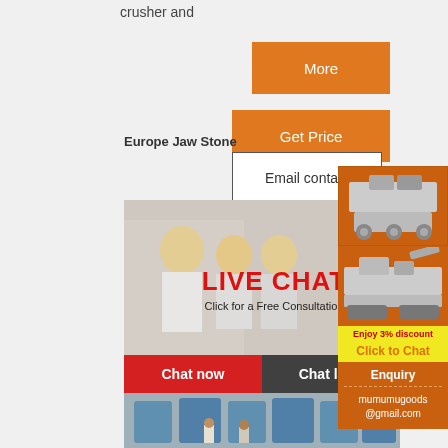crusher and
More
Get Price
Europe Jaw Stone
Email contact
[Figure (photo): Live chat banner with workers in hard hats, red LIVE CHAT text, and consultation CTA with Chat now / Chat later buttons]
[Figure (photo): Industrial factory floor with large blue cylindrical grinding mill machines and workers]
[Figure (photo): Sidebar showing industrial crushing/mining machinery images on orange background]
Enjoy 3% discount
Click to Chat
Enquiry
mumumugoods @gmail.com